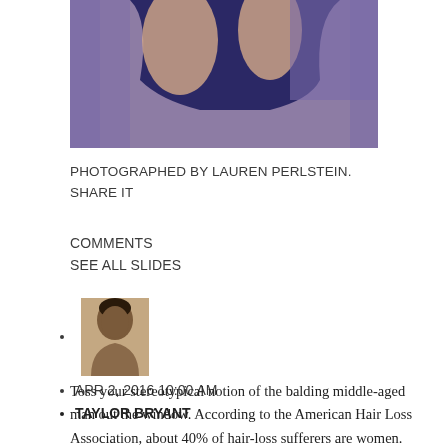[Figure (photo): Partial view of a person in a dark navy blue outfit against a purple background, with arms crossed, upper body cropped.]
PHOTOGRAPHED BY LAUREN PERLSTEIN. SHARE IT
COMMENTS
SEE ALL SLIDES
[avatar photo of Taylor Bryant]
APR 2, 2016 10:00 AM
TAYLOR BRYANT
Toss your stereotypical notion of the balding middle-aged man out the window. According to the American Hair Loss Association, about 40% of hair-loss sufferers are women. And many different factors can